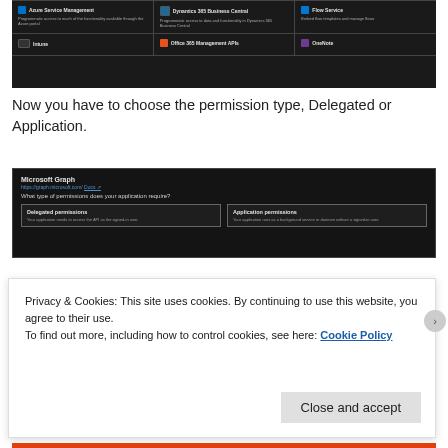[Figure (screenshot): Dark-themed Microsoft Azure portal showing service selection grid with Azure Service Management, Dynamics 365 Business Central, Flow Service, Intune, Office 365 Management APIs, and OneNote tiles]
Now you have to choose the permission type, Delegated or Application.
[Figure (screenshot): Microsoft Graph permissions dialog showing 'What type of permissions does your application require?' with two options: Delegated permissions and Application permissions]
Privacy & Cookies: This site uses cookies. By continuing to use this website, you agree to their use. To find out more, including how to control cookies, see here: Cookie Policy